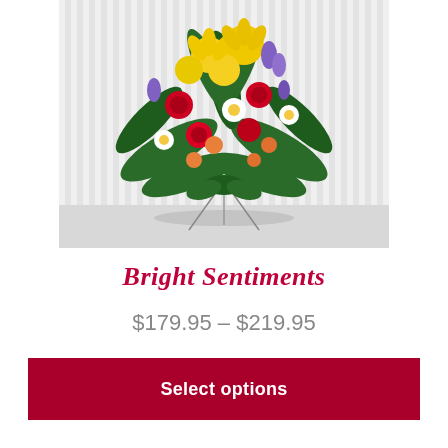[Figure (photo): A colorful funeral standing spray arrangement featuring yellow lilies, red roses, white daisies, purple irises, and orange alstroemeria with green fern fronds on a metal easel stand against a white corrugated background.]
Bright Sentiments
$179.95 – $219.95
Select options